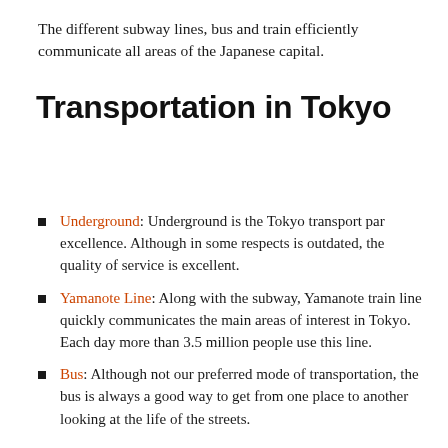The different subway lines, bus and train efficiently communicate all areas of the Japanese capital.
Transportation in Tokyo
Underground: Underground is the Tokyo transport par excellence. Although in some respects is outdated, the quality of service is excellent.
Yamanote Line: Along with the subway, Yamanote train line quickly communicates the main areas of interest in Tokyo. Each day more than 3.5 million people use this line.
Bus: Although not our preferred mode of transportation, the bus is always a good way to get from one place to another looking at the life of the streets.